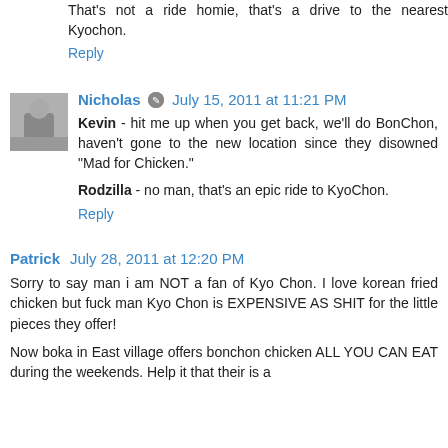That's not a ride homie, that's a drive to the nearest Kyochon.
Reply
Nicholas  July 15, 2011 at 11:21 PM
Kevin - hit me up when you get back, we'll do BonChon, haven't gone to the new location since they disowned "Mad for Chicken."
Rodzilla - no man, that's an epic ride to KyoChon.
Reply
Patrick  July 28, 2011 at 12:20 PM
Sorry to say man i am NOT a fan of Kyo Chon. I love korean fried chicken but fuck man Kyo Chon is EXPENSIVE AS SHIT for the little pieces they offer!
Now boka in East village offers bonchon chicken ALL YOU CAN EAT during the weekends. Help it that their is a...